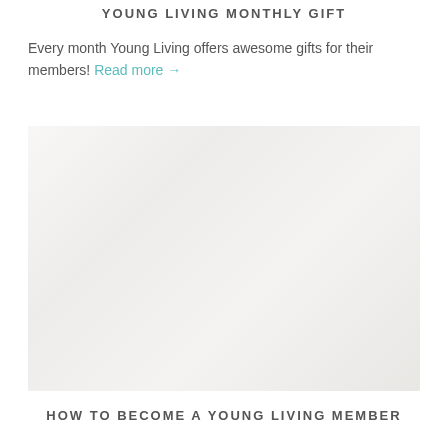YOUNG LIVING MONTHLY GIFT
Every month Young Living offers awesome gifts for their members! Read more →
[Figure (photo): Flat lay photo of Young Living essential oil bottles and supplements (including Valor, Copaiba, and other purple and red labeled bottles) arranged with lemons and lemon slices and green eucalyptus leaves on a white marble surface.]
HOW TO BECOME A YOUNG LIVING MEMBER